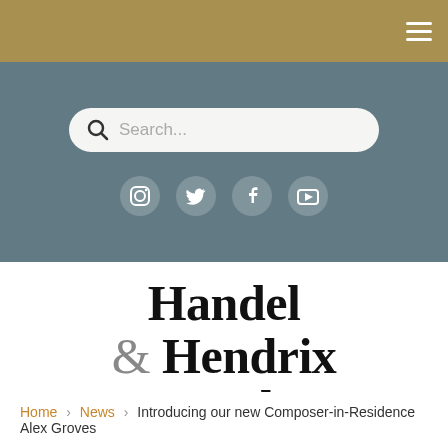Navigation bar with hamburger menu
[Figure (screenshot): Search bar with magnifying glass icon and placeholder text 'Search...' on grey background, with social media icons below (Instagram, Twitter, Facebook, YouTube)]
Handel & Hendrix in London
Home > News > Introducing our new Composer-in-Residence Alex Groves